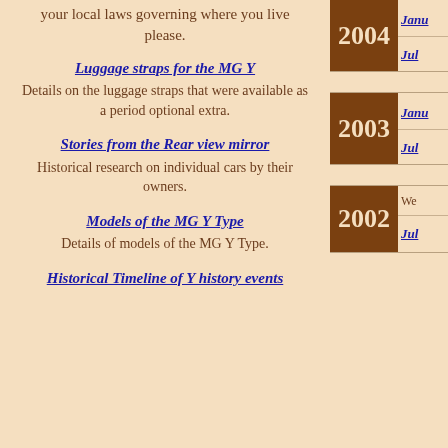your local laws governing where you live please.
Luggage straps for the MG Y
Details on the luggage straps that were available as a period optional extra.
Stories from the Rear view mirror
Historical research on individual cars by their owners.
Models of the MG Y Type
Details of models of the MG Y Type.
Historical Timeline of Y history events